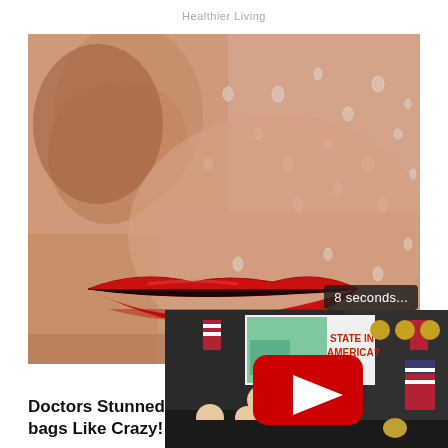Healthier Living
[Figure (photo): Close-up photo of a woman's lower face with bright red lips and skin with water droplets/crystals]
8 seconds...
[Figure (screenshot): Video thumbnail screenshot showing men in a studio with a screen reading 'STATE IN AMERICA?' and a YouTube play button overlay]
Doctors Stunned bags Like Crazy!